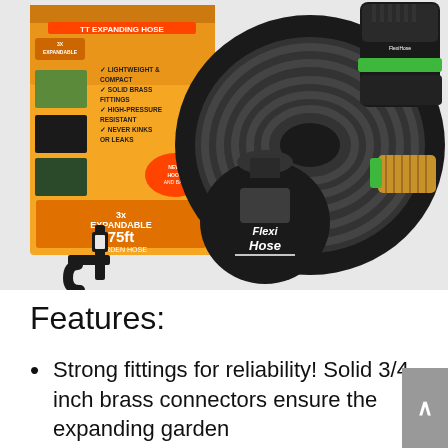[Figure (photo): Product photo of Flexi Hose 75ft expandable garden hose set, showing the black coiled hose with brass fittings, a green and black multi-pattern spray nozzle, a black storage bag labeled 'Flexi Hose', a black wall-mount hook, and the product box (orange/yellow) displaying '3x Expandable 75ft Garden Hose' with feature bullet points.]
Features:
Strong fittings for reliability! Solid 3/4 inch brass connectors ensure the expanding garden